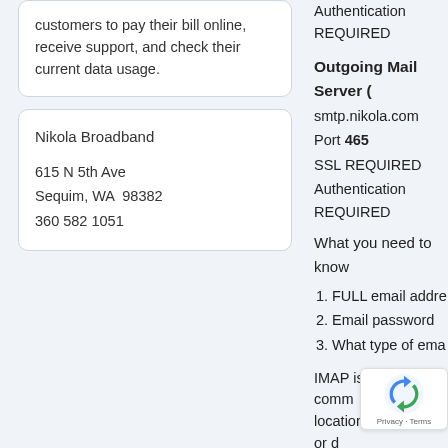customers to pay their bill online, receive support, and check their current data usage.
Nikola Broadband
615 N 5th Ave
Sequim, WA  98382
360 582 1051
Authentication REQUIRED
Outgoing Mail Server (
smtp.nikola.com
Port 465
SSL REQUIRED
Authentication REQUIRED
What you need to know
1. FULL email address
2. Email password
3. What type of email
IMAP is the most common and syncs across locations, programs or devices.
Suspect. or Junk
Email
Custom
Past correspondence